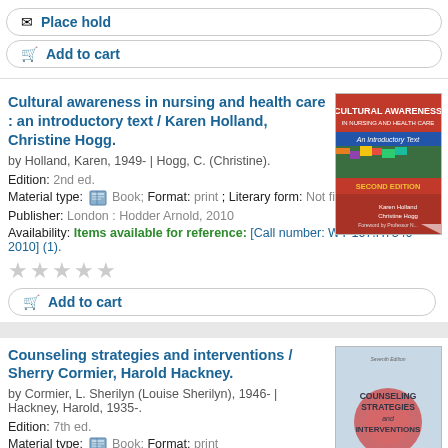Place hold
Add to cart
Cultural awareness in nursing and health care : an introductory text / Karen Holland, Christine Hogg.
by Holland, Karen, 1949- | Hogg, C. (Christine).
Edition: 2nd ed.
Material type: Book; Format: print ; Literary form: Not fiction
Publisher: London : Hodder Arnold, 2010
Availability: Items available for reference: [Call number: WY 107.H734c 2010] (1).
[Figure (photo): Book cover: Cultural Awareness in Nursing and Health Care, Second Edition, red cover]
Add to cart
Counseling strategies and interventions / Sherry Cormier, Harold Hackney.
by Cormier, L. Sherilyn (Louise Sherilyn), 1946- | Hackney, Harold, 1935-.
Edition: 7th ed.
Material type: Book; Format: print
[Figure (photo): Book cover: Counseling Strategies and Interventions, blue/neutral cover]